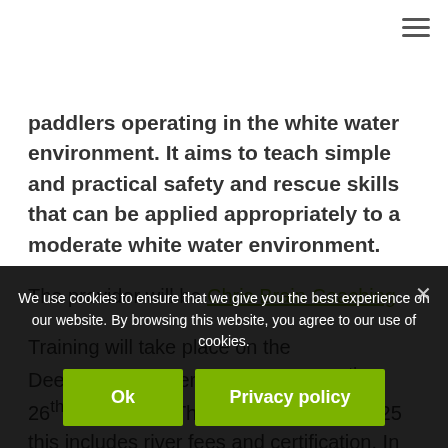paddlers operating in the white water environment. It aims to teach simple and practical safety and rescue skills that can be applied appropriately to a moderate white water environment.
The provider will be Chris Brain Coaching
Training will take place on the Dee/Tryweryn over the week end 25th – 26th June 2022. The cost per person £125 this includes river fees and certification. In
We use cookies to ensure that we give you the best experience on our website. By browsing this website, you agree to our use of cookies.